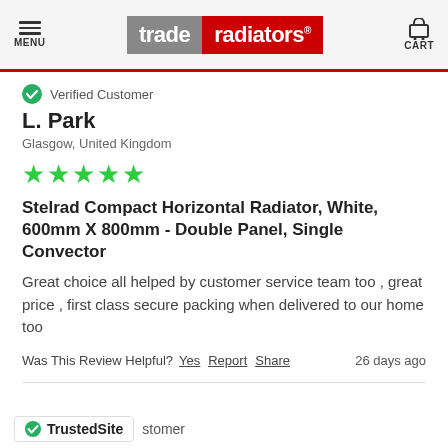MENU | trade radiators | CART
Verified Customer
L. Park
Glasgow, United Kingdom
[Figure (other): 5 green star rating]
Stelrad Compact Horizontal Radiator, White, 600mm X 800mm - Double Panel, Single Convector
Great choice all helped by customer service team too , great price , first class secure packing when delivered to our home too
Was This Review Helpful? Yes Report Share 26 days ago
TrustedSite stomer